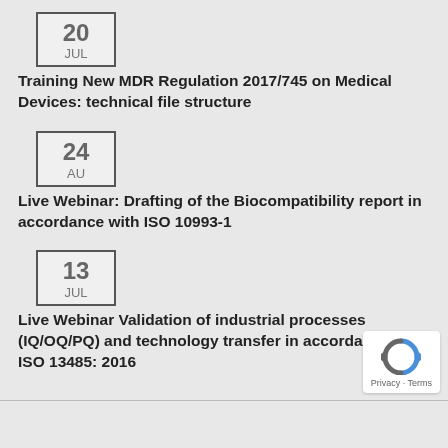[Figure (other): Date box showing '20 JUL']
Training New MDR Regulation 2017/745 on Medical Devices: technical file structure
[Figure (other): Date box showing '24 AU']
Live Webinar: Drafting of the Biocompatibility report in accordance with ISO 10993-1
[Figure (other): Date box showing '13 JUL']
Live Webinar Validation of industrial processes (IQ/OQ/PQ) and technology transfer in accordance with ISO 13485: 2016